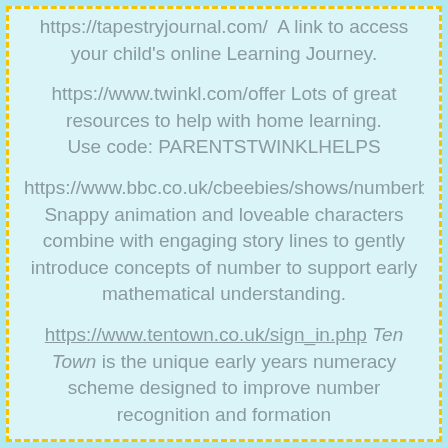https://tapestryjournal.com/  A link to access your child's online Learning Journey.
https://www.twinkl.com/offer Lots of great resources to help with home learning. Use code: PARENTSTWINKLHELPS
https://www.bbc.co.uk/cbeebies/shows/numberblocks Snappy animation and loveable characters combine with engaging story lines to gently introduce concepts of number to support early mathematical understanding.
https://www.tentown.co.uk/sign_in.php Ten Town is the unique early years numeracy scheme designed to improve number recognition and formation...